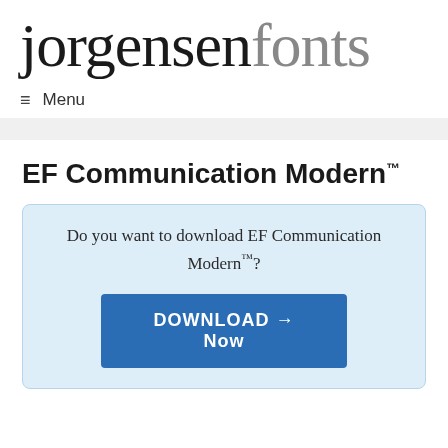jorgensenfonts
≡  Menu
EF Communication Modern™
Do you want to download EF Communication Modern™?
DOWNLOAD → Now